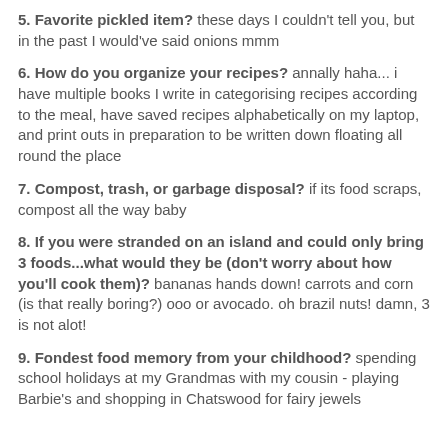5. Favorite pickled item? these days I couldn't tell you, but in the past I would've said onions mmm
6. How do you organize your recipes? annally haha... i have multiple books I write in categorising recipes according to the meal, have saved recipes alphabetically on my laptop, and print outs in preparation to be written down floating all round the place
7. Compost, trash, or garbage disposal? if its food scraps, compost all the way baby
8. If you were stranded on an island and could only bring 3 foods...what would they be (don't worry about how you'll cook them)? bananas hands down! carrots and corn (is that really boring?) ooo or avocado. oh brazil nuts! damn, 3 is not alot!
9. Fondest food memory from your childhood? spending school holidays at my Grandmas with my cousin - playing Barbie's and shopping in Chatswood for fairy jewels